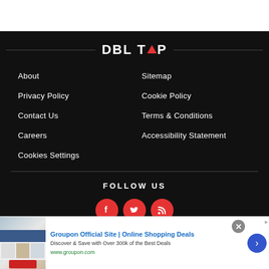[Figure (logo): DBLTAP logo with red triangle/arrow accent between T and A, centered with horizontal lines on both sides]
About
Sitemap
Privacy Policy
Cookie Policy
Contact Us
Terms & Conditions
Careers
Accessibility Statement
Cookies Settings
FOLLOW US
[Figure (infographic): Social media icons: Facebook (red circle with f), Twitter (red circle with bird), RSS (red circle with feed icon), partially visible]
[Figure (infographic): Advertisement banner: Groupon Official Site | Online Shopping Deals. Discover & Save with Over 300k of the Best Deals. www.groupon.com]